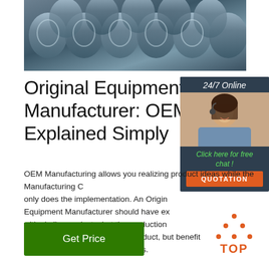[Figure (photo): Metal rods or steel bars stacked together, viewed from the ends, showing circular cross-sections in a blue-grey industrial setting.]
Original Equipment Manufacturer: OEM Explained Simply
[Figure (infographic): Sidebar widget with '24/7 Online' label, photo of female customer service agent with headset, 'Click here for free chat!' text in green, and orange QUOTATION button, on dark navy background.]
OEM Manufacturing allows you realizing product ideas while the Manufacturing Co only does the implementation. An Original Equipment Manufacturer should have ex with similar products, but the production up for your needs. Get a new product, but benefit from the manufacturers capacities.
[Figure (illustration): Green 'Get Price' button]
[Figure (illustration): Orange 'TOP' logo with orange dots arranged in a triangle above the word TOP]